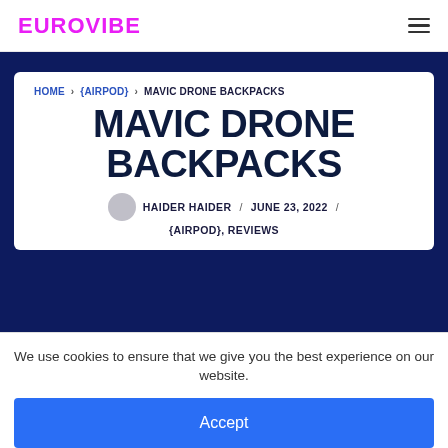EUROVIBE
HOME › {AIRPOD} › MAVIC DRONE BACKPACKS
MAVIC DRONE BACKPACKS
HAIDER HAIDER / JUNE 23, 2022 / {AIRPOD}, REVIEWS
We use cookies to ensure that we give you the best experience on our website.
Accept